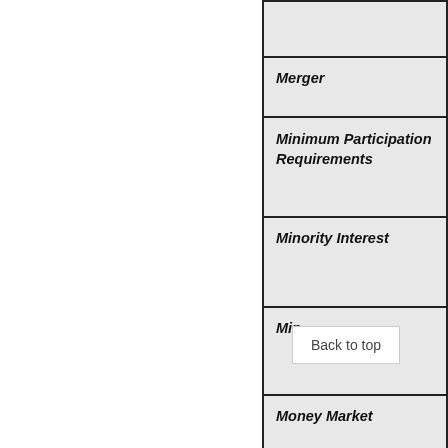|  |
| Merger |
| Minimum Participation Requirements |
| Minority Interest |
| Min... [Back to top] |
| Money Market |
| Monthly Housing Expenses |